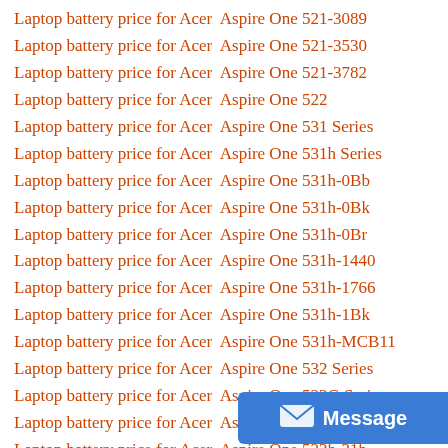Laptop battery price for Acer  Aspire One 521-3089
Laptop battery price for Acer  Aspire One 521-3530
Laptop battery price for Acer  Aspire One 521-3782
Laptop battery price for Acer  Aspire One 522
Laptop battery price for Acer  Aspire One 531 Series
Laptop battery price for Acer  Aspire One 531h Series
Laptop battery price for Acer  Aspire One 531h-0Bb
Laptop battery price for Acer  Aspire One 531h-0Bk
Laptop battery price for Acer  Aspire One 531h-0Br
Laptop battery price for Acer  Aspire One 531h-1440
Laptop battery price for Acer  Aspire One 531h-1766
Laptop battery price for Acer  Aspire One 531h-1Bk
Laptop battery price for Acer  Aspire One 531h-MCB11
Laptop battery price for Acer  Aspire One 532 Series
Laptop battery price for Acer  Aspire One 532G Series
Laptop battery price for Acer  Aspire One 532h Series
Laptop battery price for Acer  Aspire One 532h-21b
Laptop battery price for Acer  Aspire One 532h-2...
Laptop battery price for Acer  Aspire One 532h-21s